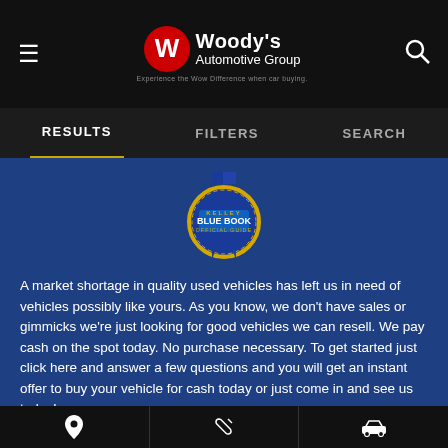Woody's Automotive Group — Experience the Wow Difference when car buying.
RESULTS   FILTERS   SEARCH
[Figure (logo): Kelley Blue Book Official Guide badge/seal in blue and gold]
A market shortage in quality used vehicles has left us in need of vehicles possibly like yours. As you know, we don't have sales or gimmicks we're just looking for good vehicles we can resell. We pay cash on the spot today. No purchase necessary. To get started just click here and answer a few questions and you will get an instant offer to buy your vehicle for cash today or just come in and see us today!
5 Star Rated Dealer, 10,000+ Customer Reviews from all over the U.S.A!
Location | Wrench/Service | Car